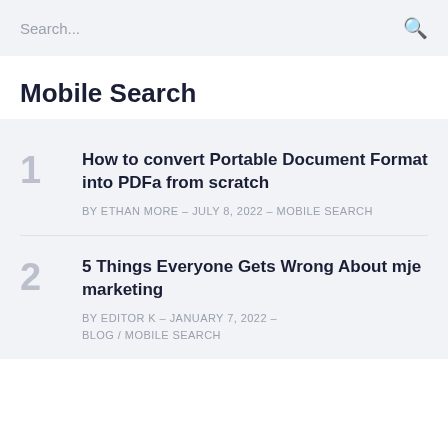Search...
Mobile Search
1 How to convert Portable Document Format into PDFa from scratch — BY ETHAN MORE – JULY 8, 2022 – MOBILE SEARCH
2 5 Things Everyone Gets Wrong About mje marketing — BY EDITOR K – JANUARY 7, 2022 – BLOG / MOBILE SEARCH